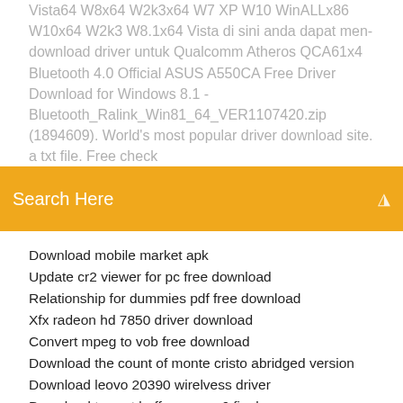Vista64 W8x64 W2k3x64 W7 XP W10 WinALLx86 W10x64 W2k3 W8.1x64 Vista di sini anda dapat men-download driver untuk Qualcomm Atheros QCA61x4 Bluetooth 4.0 Official ASUS A550CA Free Driver Download for Windows 8.1 - Bluetooth_Ralink_Win81_64_VER1107420.zip (1894609). World's most popular driver download site. a txt file. Free check
Search Here
Download mobile market apk
Update cr2 viewer for pc free download
Relationship for dummies pdf free download
Xfx radeon hd 7850 driver download
Convert mpeg to vob free download
Download the count of monte cristo abridged version
Download leovo 20390 wirelvess driver
Download torrent buffy season 6 finale
Baixar six guns dinheiro infinito para android download